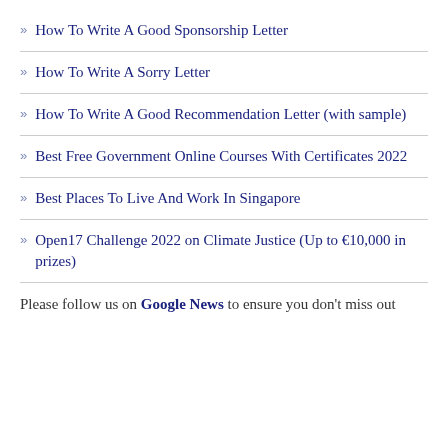How To Write A Good Sponsorship Letter
How To Write A Sorry Letter
How To Write A Good Recommendation Letter (with sample)
Best Free Government Online Courses With Certificates 2022
Best Places To Live And Work In Singapore
Open17 Challenge 2022 on Climate Justice (Up to €10,000 in prizes)
Please follow us on Google News to ensure you don't miss out